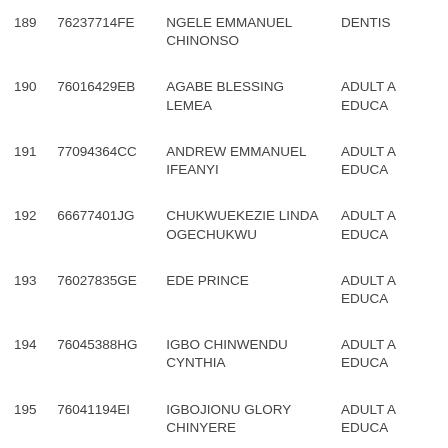| # | ID | Name | Department |
| --- | --- | --- | --- |
| 189 | 76237714FE | NGELE EMMANUEL CHINONSO | DENTIS... |
| 190 | 76016429EB | AGABE BLESSING LEMEA | ADULT A... EDUCA... |
| 191 | 77094364CC | ANDREW EMMANUEL IFEANYI | ADULT A... EDUCA... |
| 192 | 66677401JG | CHUKWUEKEZIE LINDA OGECHUKWU | ADULT A... EDUCA... |
| 193 | 76027835GE | EDE PRINCE | ADULT A... EDUCA... |
| 194 | 76045388HG | IGBO CHINWENDU CYNTHIA | ADULT A... EDUCA... |
| 195 | 76041194EI | IGBOJIONU GLORY CHINYERE | ADULT A... EDUCA... |
| 196 | 76683548IF | MEMBERE GRACE NIMI | ADULT A... EDUCA... |